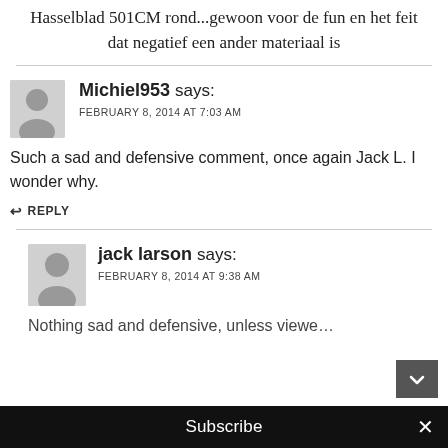Hasselblad 501CM rond...gewoon voor de fun en het feit dat negatief een ander materiaal is
[Figure (photo): Avatar placeholder image for commenter Michiel953]
Michiel953 says:
FEBRUARY 8, 2014 AT 7:03 AM
Such a sad and defensive comment, once again Jack L. I wonder why.
↩ REPLY
[Figure (photo): Avatar placeholder image for commenter jack larson]
jack larson says:
FEBRUARY 8, 2014 AT 9:38 AM
Nothing sad and defensive, unless viewe…
Subscribe